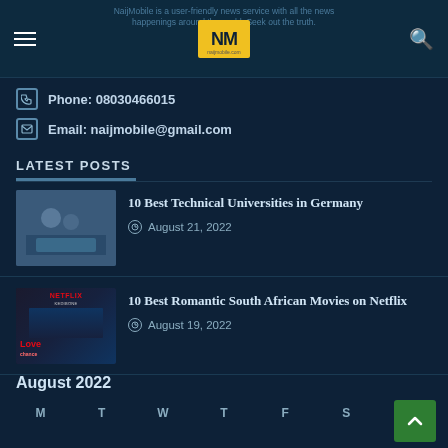NaijMobile – naijmobile.com | Phone: 08030466015 | Email: naijmobile@gmail.com
Phone: 08030466015
Email: naijmobile@gmail.com
LATEST POSTS
10 Best Technical Universities in Germany – August 21, 2022
10 Best Romantic South African Movies on Netflix – August 19, 2022
August 2022
M T W T F S S